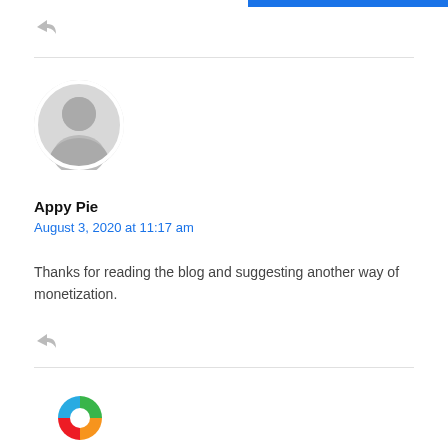[Figure (illustration): Partial blue progress/accent bar at top right]
[Figure (illustration): Reply/share arrow icon (gray)]
[Figure (illustration): Generic user avatar circle (gray silhouette)]
Appy Pie
August 3, 2020 at 11:17 am
Thanks for reading the blog and suggesting another way of monetization.
[Figure (illustration): Reply/share arrow icon (gray)]
[Figure (logo): Appy Pie logo partial (colorful pinwheel/quadrant logo, partially visible at bottom)]